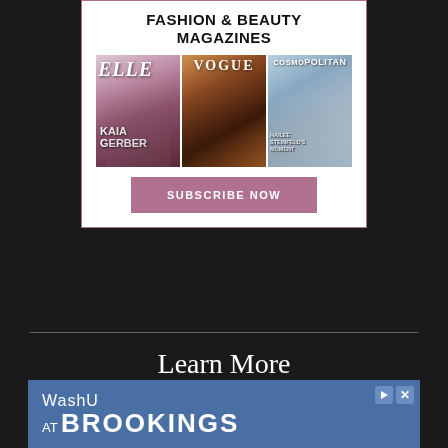FASHION & BEAUTY MAGAZINES
[Figure (illustration): Three fashion magazine covers side by side: ELLE with Kaia Gerber, VOGUE with a model, and COSMOPOLITAN with Hailee Steinfeld]
SUBSCRIBE NOW
Learn More
Subscribe
Contact Us
[Figure (infographic): WashU at Brookings advertisement banner in blue]